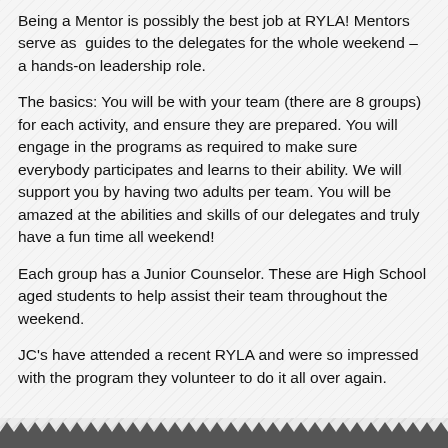Being a Mentor is possibly the best job at RYLA! Mentors serve as guides to the delegates for the whole weekend – a hands-on leadership role.
The basics: You will be with your team (there are 8 groups) for each activity, and ensure they are prepared. You will engage in the programs as required to make sure everybody participates and learns to their ability. We will support you by having two adults per team. You will be amazed at the abilities and skills of our delegates and truly have a fun time all weekend!
Each group has a Junior Counselor. These are High School aged students to help assist their team throughout the weekend.
JC's have attended a recent RYLA and were so impressed with the program they volunteer to do it all over again.